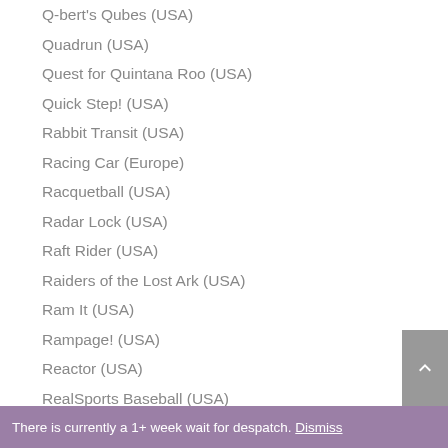Q-bert's Qubes (USA)
Quadrun (USA)
Quest for Quintana Roo (USA)
Quick Step! (USA)
Rabbit Transit (USA)
Racing Car (Europe)
Racquetball (USA)
Radar Lock (USA)
Raft Rider (USA)
Raiders of the Lost Ark (USA)
Ram It (USA)
Rampage! (USA)
Reactor (USA)
RealSports Baseball (USA)
RealSports Boxing (USA)
RealSports Football (USA)
RealSports Soccer (USA)
There is currently a 1+ week wait for despatch. Dismiss